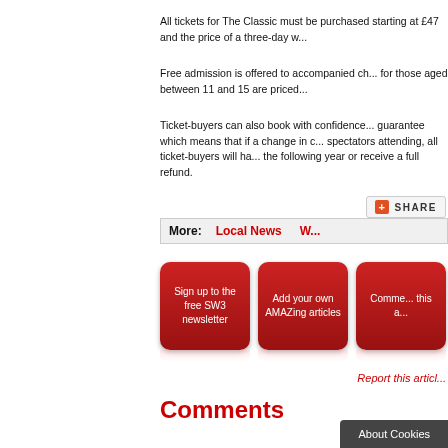All tickets for The Classic must be purchased starting at £47 and the price of a three-day w...
Free admission is offered to accompanied ch... for those aged between 11 and 15 are priced...
Ticket-buyers can also book with confidence... guarantee which means that if a change in c... spectators attending, all ticket-buyers will ha... the following year or receive a full refund.
[Figure (other): Share button with red plus icon and SHARE text]
More:   Local News   W...
[Figure (other): Three red rounded buttons: Sign up to the free SW3 newsletter, Add your own AMAZing articles, Comme... this a...]
Report this articl...
Comments
About Cookies